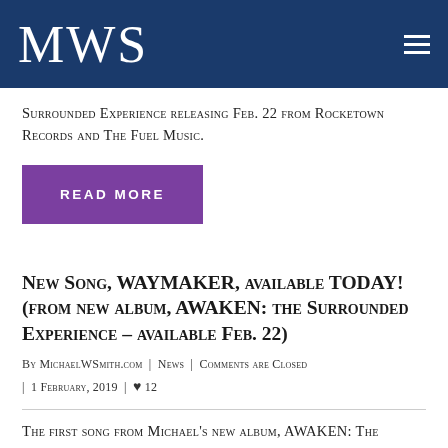MWS
Surrounded Experience releasing Feb. 22 from Rocketown Records and The Fuel Music.
READ MORE
New Song, WAYMAKER, available TODAY! (FROM NEW ALBUM, AWAKEN: THE SURROUNDED EXPERIENCE – available Feb. 22)
By MichaelWSmith.com  |  News  |  Comments are Closed  |  1 February, 2019  |  ♥ 12
The first song from Michael's new album, AWAKEN: The Surrounded Experience, has arrived online today. WAYMAKER features guest vocals by long time band